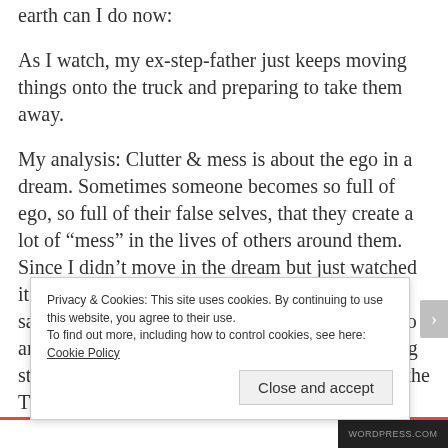earth can I do now:
As I watch, my ex-step-father just keeps moving things onto the truck and preparing to take them away.
My analysis: Clutter & mess is about the ego in a dream. Sometimes someone becomes so full of ego, so full of their false selves, that they create a lot of “mess” in the lives of others around them. Since I didn’t move in the dream but just watched it means the thing I’m learning to get good at is saying NO to the ego-mess caused by people who are full of their negative selves and keep dumping stuff on me trying to make me look bad. I know the Truth though and others who look close enough can know the Truth too. It’s a good lesson for us
Privacy & Cookies: This site uses cookies. By continuing to use this website, you agree to their use.
To find out more, including how to control cookies, see here: Cookie Policy
Close and accept